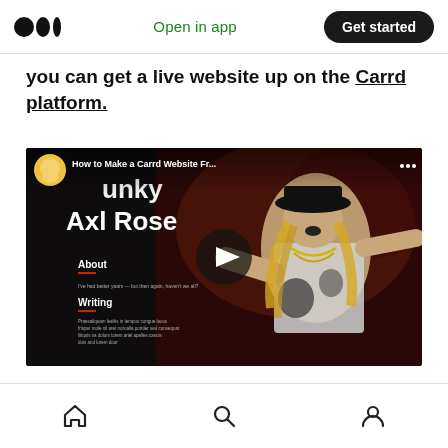Medium logo | Open in app | Get started
you can get a live website up on the Carrd platform.
[Figure (screenshot): YouTube video thumbnail showing 'How to Make a Carrd Website Fr...' with a person performing on stage (resembling Axl Rose), overlaid with a website mockup showing sections About and Writing. A play button is visible in the center.]
Home | Search | Profile navigation icons